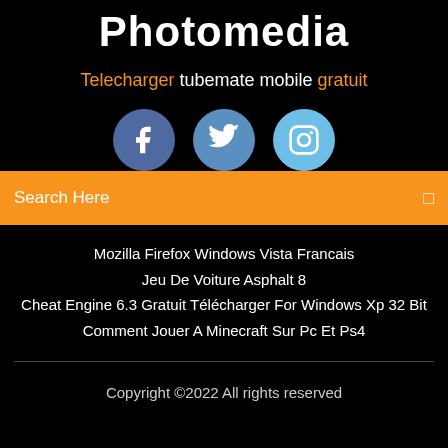Photomedia
Telecharger tubemate mobile gratuit
[Figure (infographic): Three social media icon circles: Facebook (dark blue), Twitter (medium blue), Instagram (light blue)]
Search Here
Mozilla Firefox Windows Vista Francais
Jeu De Voiture Asphalt 8
Cheat Engine 6.3 Gratuit Télécharger For Windows Xp 32 Bit
Comment Jouer A Minecraft Sur Pc Et Ps4
Copyright ©2022 All rights reserved